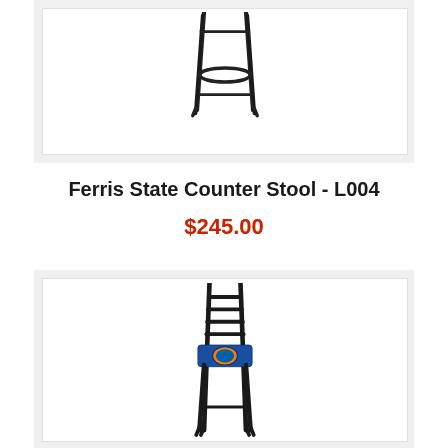[Figure (photo): Bar stool / counter stool with dark metal frame, round seat, circular footrest ring, and four legs — shown cropped at top of page]
Ferris State Counter Stool - L004
$245.00
[Figure (photo): Bar stool with dark metal ladder-back frame, blue upholstered seat with Florida Gators logo, and four legs — partially visible at bottom of page]